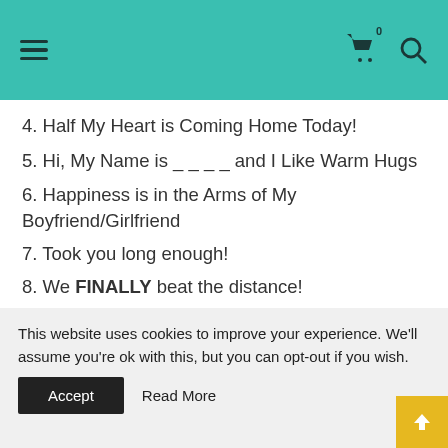navigation header with hamburger menu, cart, and search icons
4. Half My Heart is Coming Home Today!
5. Hi, My Name is _ _ _ _ and I Like Warm Hugs
6. Happiness is in the Arms of My Boyfriend/Girlfriend
7. Took you long enough!
8. We FINALLY beat the distance!
9. It's Been # Days/Months Since You Hugged
This website uses cookies to improve your experience. We'll assume you're ok with this, but you can opt-out if you wish.